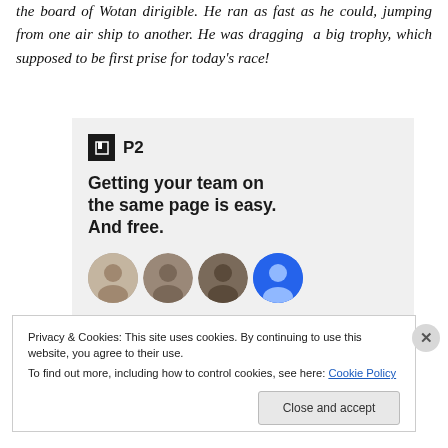the board of Wotan dirigible. He ran as fast as he could, jumping from one air ship to another. He was dragging a big trophy, which supposed to be first prise for today's race!
[Figure (screenshot): P2 app advertisement card on gray background. Shows P2 logo (dark square with white bookmark icon) followed by 'P2' text. Headline: 'Getting your team on the same page is easy. And free.' Below are circular avatar photos of team members.]
Privacy & Cookies: This site uses cookies. By continuing to use this website, you agree to their use.
To find out more, including how to control cookies, see here: Cookie Policy
Close and accept